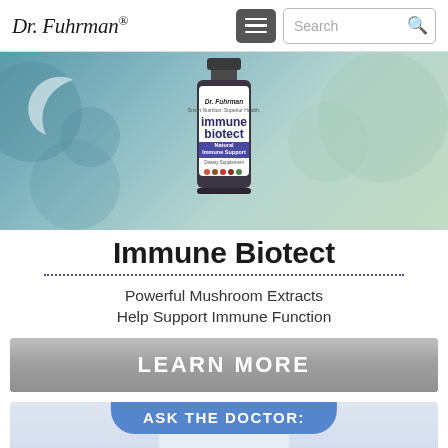[Figure (logo): Dr. Fuhrman logo in italic serif font]
[Figure (screenshot): Navigation header with hamburger menu button and search box]
[Figure (photo): Immune Biotect supplement bottle on teal/green molecular background with crescent shape]
Immune Biotect
Powerful Mushroom Extracts Help Support Immune Function
[Figure (infographic): LEARN MORE gray gradient button]
[Figure (infographic): Ask the Doctor: Cancer Protection banner section with doctor in white coat]